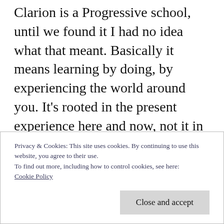Clarion is a Progressive school, until we found it I had no idea what that meant. Basically it means learning by doing, by experiencing the world around you. It's rooted in the present experience here and now, not it in the ways of the past. There is a strong emphasis on critical thinking and includes much group work. There are many field trips (sometimes twice a week!). Clare is reading and writing at grade
Privacy & Cookies: This site uses cookies. By continuing to use this website, you agree to their use.
To find out more, including how to control cookies, see here:
Cookie Policy
Close and accept